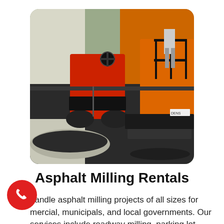[Figure (photo): Asphalt paving scene showing a red roller/compactor machine on the left and an orange asphalt paver machine on the right with a worker standing on it, on a freshly paved dark asphalt surface with a curved curb visible in the lower left.]
Asphalt Milling Rentals
handle asphalt milling projects of all sizes for mercial, municipals, and local governments. Our services include roadway milling, parking lot milling,